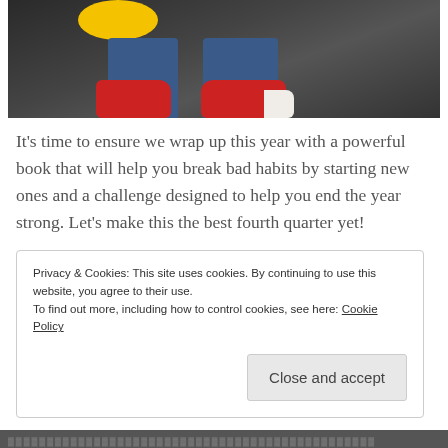[Figure (photo): Top-down view of a person's feet wearing red Converse sneakers standing on a dark wet surface, with a yellow object visible at the top]
It's time to ensure we wrap up this year with a powerful book that will help you break bad habits by starting new ones and a challenge designed to help you end the year strong. Let's make this the best fourth quarter yet!
Privacy & Cookies: This site uses cookies. By continuing to use this website, you agree to their use.
To find out more, including how to control cookies, see here: Cookie Policy
Close and accept